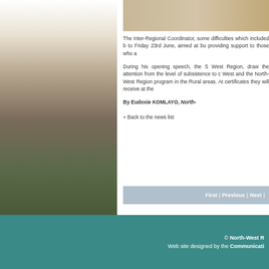[Figure (photo): Aerial or landscape photo on left side of page, showing terrain/cityscape]
[Figure (photo): Top right partial image strip, sandy/arid landscape]
The Inter-Regional Coordinator, some difficulties which included b to Friday 23rd June, aimed at bu providing support to those who a
During his opening speech, the S West Region, draw the attention from the level of subsistence to c West and the North-West Region program in the Rural areas. At certificates they will receive at the
By Eudoxie KOMLAYO, North-
» Back to the news list
First | Previous | Next |
© North-West R Web site designed by the Communicati